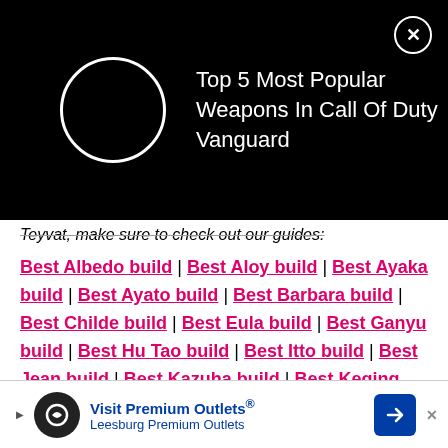[Figure (screenshot): Black overlay ad banner showing a circular loading spinner and text 'Top 5 Most Popular Weapons In Call Of Duty Vanguard' with a close (X) button in the top right corner.]
Teyvat, make sure to check out our guides:
Best Albedo build | Best Aloy build | Best Ayaka build | Best Ayato build | Best Barbara build | Best Childe build | Best Eula build | Best Ganyu build | Best Hu Tao build | Best Itto build | Best Jean build | Best Kazuha build | Best Keqing build | Genshin Impact pick rates | Genshin Impact banner: What is the current banner? | All banner reruns in Genshin Impact
Article continues after ad
[Figure (screenshot): Bottom advertisement banner for 'Visit Premium Outlets® Leesburg Premium Outlets' with logo, blue arrow icon, play button and close X.]